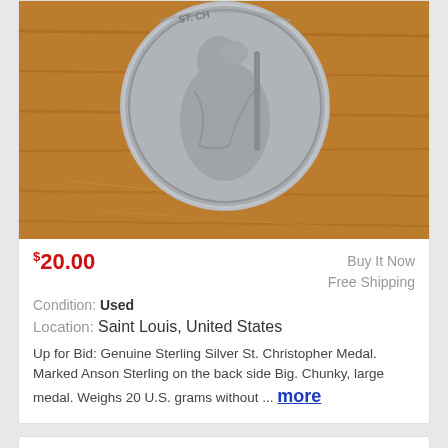[Figure (photo): Close-up photo of a large silver St. Christopher medal on a wooden surface. The medal shows a relief figure of Saint Christopher. It is round, chunky, and silver-colored.]
$20.00
Buy It Now
Free Shipping
Condition: Used
Location: Saint Louis, United States
Up for Bid: Genuine Sterling Silver St. Christopher Medal. Marked Anson Sterling on the back side Big. Chunky, large medal. Weighs 20 U.S. grams without ... more
VINTAGE SAINT CHRISTOPHER STERLING SILVER MEDAL NECKLACE